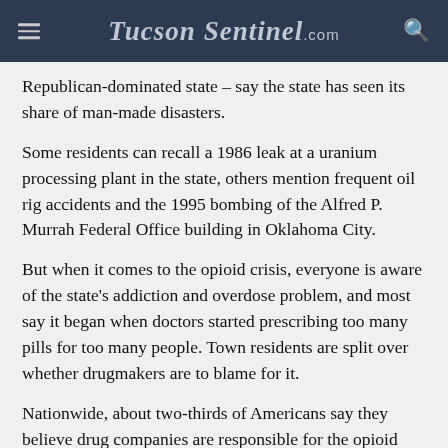TucsonSentinel.com
Republican-dominated state – say the state has seen its share of man-made disasters.
Some residents can recall a 1986 leak at a uranium processing plant in the state, others mention frequent oil rig accidents and the 1995 bombing of the Alfred P. Murrah Federal Office building in Oklahoma City.
But when it comes to the opioid crisis, everyone is aware of the state's addiction and overdose problem, and most say it began when doctors started prescribing too many pills for too many people. Town residents are split over whether drugmakers are to blame for it.
Nationwide, about two-thirds of Americans say they believe drug companies are responsible for the opioid crisis, although nearly as many hold drug users…